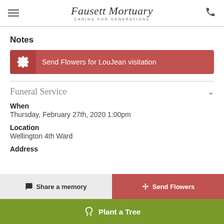Fausett Mortuary — Caring for Generations
Notes
Send Flowers for LouJean visitation
Funeral Service
When
Thursday, February 27th, 2020 1:00pm
Location
Wellington 4th Ward
Address
Share a memory
Send Flowers
Plant a Tree